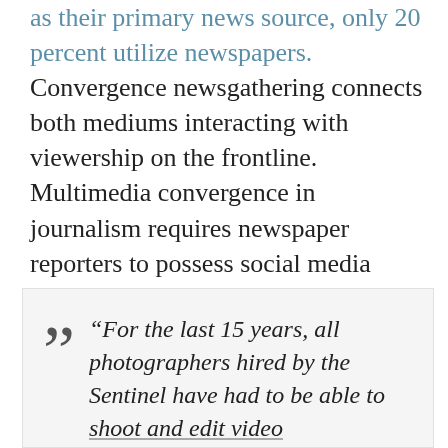as their primary news source, only 20 percent utilize newspapers. Convergence newsgathering connects both mediums interacting with viewership on the frontline. Multimedia convergence in journalism requires newspaper reporters to possess social media skills, while multimedia journalists from the television industry connects both worlds to produce, write and report stories independently.
“For the last 15 years, all photographers hired by the Sentinel have had to be able to shoot and edit video...